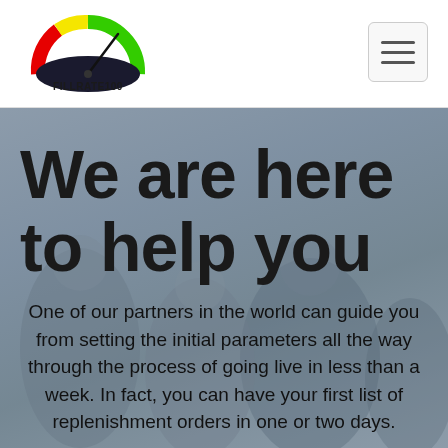[Figure (logo): FILLRATE100 logo — a semicircular speedometer-style gauge with red, yellow, and green segments on top, a dark blue/black base, and the text FILLRATE100 below]
We are here to help you
One of our partners in the world can guide you from setting the initial parameters all the way through the process of going live in less than a week. In fact, you can have your first list of replenishment orders in one or two days.